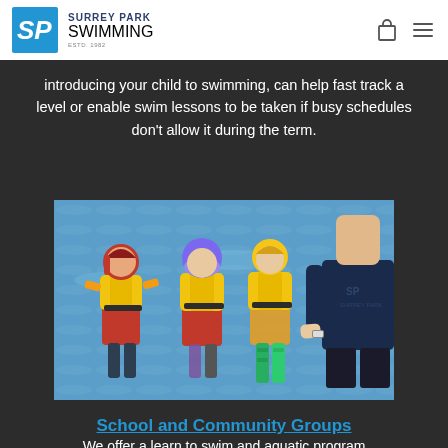Surrey Park Swimming
introducing your child to swimming, can help fast track a level or enable swim lessons to be taken if busy schedules don't allow it during the term.
[Figure (photo): Three children wearing yellow life vests and swim gear standing at the water's edge, viewed from behind, with an adult instructor in a dark SP shirt standing beside them.]
School and Community Groups
We offer a learn to swim and aquatic program